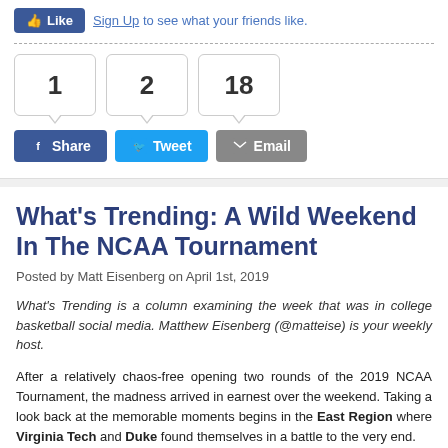[Figure (screenshot): Facebook Like button with 'Sign Up to see what your friends like.' text, share counts of 1, 2, 18, and Share/Tweet/Email buttons]
What’s Trending: A Wild Weekend In The NCAA Tournament
Posted by Matt Eisenberg on April 1st, 2019
What’s Trending is a column examining the week that was in college basketball social media. Matthew Eisenberg (@matteise) is your weekly host.
After a relatively chaos-free opening two rounds of the 2019 NCAA Tournament, the madness arrived in earnest over the weekend. Taking a look back at the memorable moments begins in the East Region where Virginia Tech and Duke found themselves in a battle to the very end.
While Zion Williamson marvels those that watch Duke play with his dunks, it is plays like this that truly show how unique he is. With Duke nursing a narrow three-point lead, Williamson gets crossed-up by Virginia Tech’s Justin Robinson. Despite the blow-by, Williamson recovers like few others playing high-level basketball can…